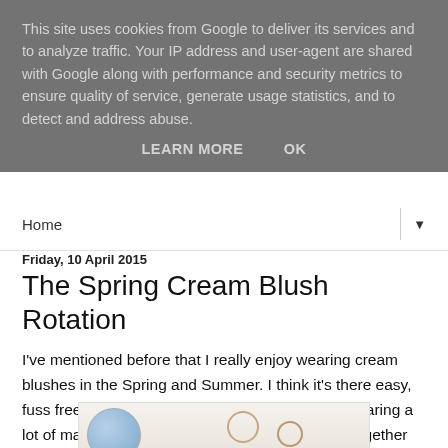This site uses cookies from Google to deliver its services and to analyze traffic. Your IP address and user-agent are shared with Google along with performance and security metrics to ensure quality of service, generate usage statistics, and to detect and address abuse.
LEARN MORE    OK
Home
Friday, 10 April 2015
The Spring Cream Blush Rotation
I've mentioned before that I really enjoy wearing cream blushes in the Spring and Summer. I think it's there easy, fuss free finger application that I love when not wearing a lot of makeup in the warmer months. I've pulled together four of my favourites which will be in rotation the most this season.
[Figure (photo): Photo of cream blush products including a blue round compact and small circular pans on a light background]